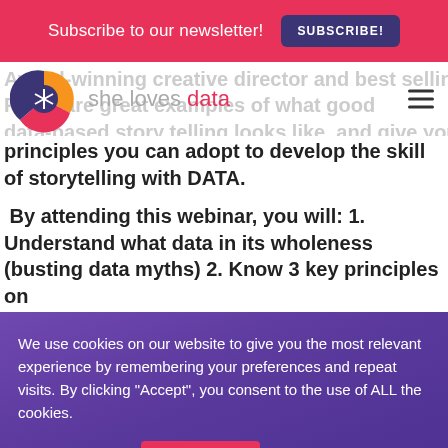Subscribe to our newsletter! SUBSCRIBE!
[Figure (logo): She Loves Data logo with circular graphic and text 'she loves data']
Award-winning creative director and best selling author, Unia R... share great examples of what good data-based story telling looks like, and give your some key principles you can adopt to develop the skill of storytelling with DATA.
By attending this webinar, you will: 1. Understand what data in its wholeness (busting data myths) 2. Know 3 key principles on
We use cookies on our website to give you the most relevant experience by remembering your preferences and repeat visits. By clicking "Accept", you consent to the use of ALL the cookies.
Cookie settings ACCEPT